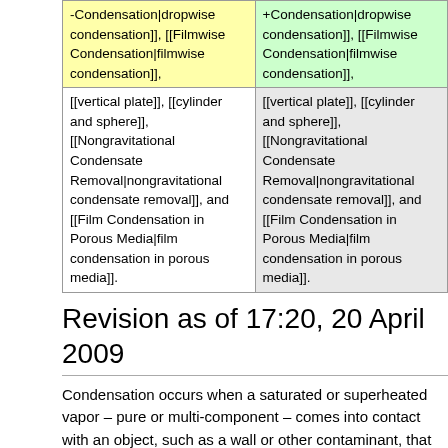| (col1) | (col2) |
| --- | --- |
| -Condensation|dropwise condensation]], [[Filmwise Condensation|filmwise condensation]], | +Condensation|dropwise condensation]], [[Filmwise Condensation|filmwise condensation]], |
| [[vertical plate]], [[cylinder and sphere]], [[Nongravitational Condensate Removal|nongravitational condensate removal]], and [[Film Condensation in Porous Media|film condensation in porous media]]. | [[vertical plate]], [[cylinder and sphere]], [[Nongravitational Condensate Removal|nongravitational condensate removal]], and [[Film Condensation in Porous Media|film condensation in porous media]]. |
Revision as of 17:20, 20 April 2009
Condensation occurs when a saturated or superheated vapor – pure or multi-component – comes into contact with an object, such as a wall or other contaminant, that has a temperature below the saturation temperature.
Basics